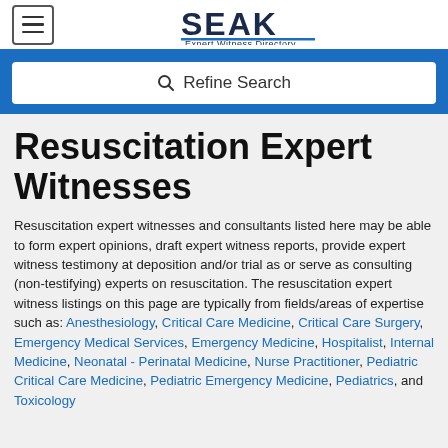SEAK Expert Witness Directory
Resuscitation Expert Witnesses
Resuscitation expert witnesses and consultants listed here may be able to form expert opinions, draft expert witness reports, provide expert witness testimony at deposition and/or trial as or serve as consulting (non-testifying) experts on resuscitation. The resuscitation expert witness listings on this page are typically from fields/areas of expertise such as: Anesthesiology, Critical Care Medicine, Critical Care Surgery, Emergency Medical Services, Emergency Medicine, Hospitalist, Internal Medicine, Neonatal - Perinatal Medicine, Nurse Practitioner, Pediatric Critical Care Medicine, Pediatric Emergency Medicine, Pediatrics, and Toxicology